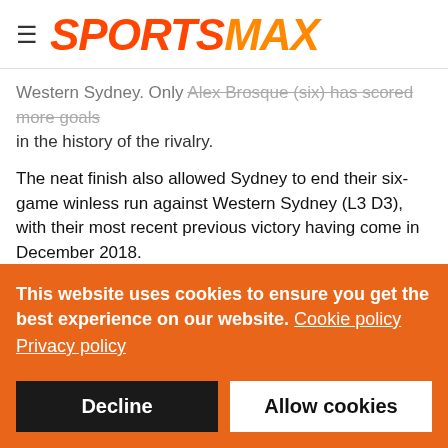≡  SPORTSMAX
Western Sydney. Only Alex Brosque (six) has scored more goals in the history of the rivalry.
The neat finish also allowed Sydney to end their six-game winless run against Western Sydney (L3 D3), with their most recent previous victory having come in December 2018.
Sydney sit second in the table, with Melbourne City having already secured the Premiers Plate, but the race is on for post-season places and Western Sydney are in danger of missing out. Needing a top-six finish, they sit ninth with three games…
This website uses cookies to ensure you get the best experience on our website. Cookie policy Privacy policy
Decline   Allow cookies